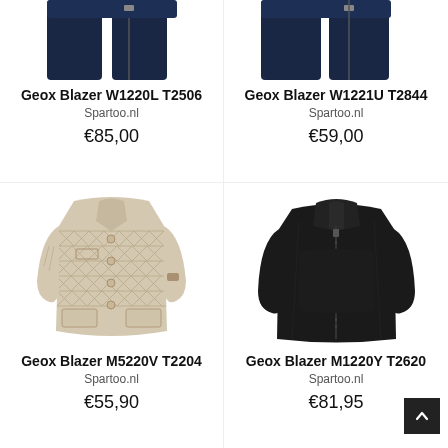[Figure (photo): Partial view of a navy/dark blue Geox blazer jacket cropped at top, left product]
Geox Blazer W1220L T2506
Spartoo.nl
€85,00
[Figure (photo): Partial view of a navy/dark blue Geox blazer jacket cropped at top, right product]
Geox Blazer W1221U T2844
Spartoo.nl
€59,00
[Figure (photo): Beige/cream quilted Geox blazer jacket with diamond pattern and buttons]
Geox Blazer M5220V T2204
Spartoo.nl
€55,90
[Figure (photo): Black Geox zip-up jacket/blazer]
Geox Blazer M1220Y T2620
Spartoo.nl
€81,95